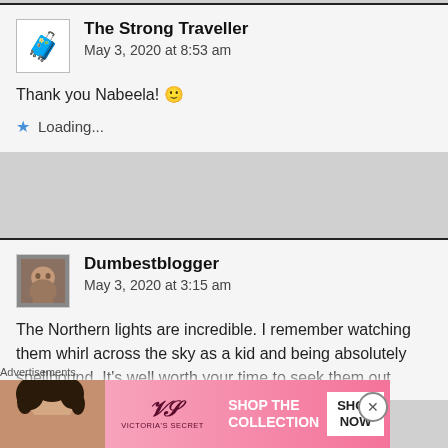The Strong Traveller
May 3, 2020 at 8:53 am
Thank you Nabeela! 🙂
Loading...
Dumbestblogger
May 3, 2020 at 3:15 am
The Northern lights are incredible. I remember watching them whirl across the sky as a kid and being absolutely spellbound. It's well worth your time to seek them out
Advertisements
[Figure (screenshot): Victoria's Secret advertisement banner: SHOP THE COLLECTION / SHOP NOW]